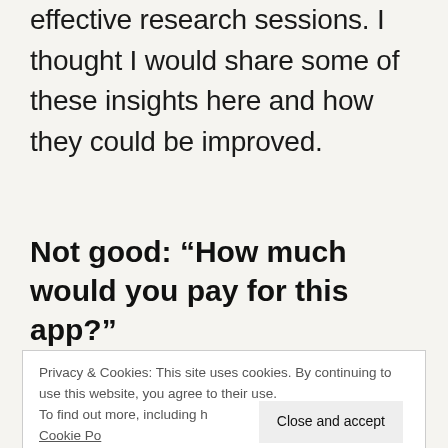effective research sessions. I thought I would share some of these insights here and how they could be improved.
Not good: “How much would you pay for this app?”
Privacy & Cookies: This site uses cookies. By continuing to use this website, you agree to their use.
To find out more, including h cookies, see here: Cookie Po
Close and accept
problematic than that. You’re